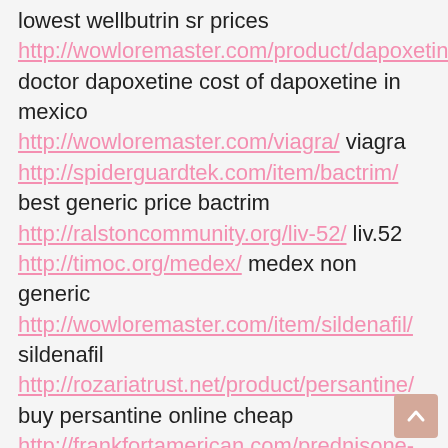lowest wellbutrin sr prices http://wowloremaster.com/product/dapoxetine/ doctor dapoxetine cost of dapoxetine in mexico http://wowloremaster.com/viagra/ viagra http://spiderguardtek.com/item/bactrim/ best generic price bactrim http://ralstoncommunity.org/liv-52/ liv.52 http://timoc.org/medex/ medex non generic http://wowloremaster.com/item/sildenafil/ sildenafil http://rozariatrust.net/product/persantine/ buy persantine online cheap http://frankfortamerican.com/prednisone-10-mg-dose-pack/ prednisone without perscription http://yourbirthexperience.com/grisovin-fp/ grisovin-fp usa pharmacy grisovin-fp en pharmacie http://center4family.com/generic-hyzaar/ buy hyzaar online http://transylvaniacare.org/ibuprofen/ buy generic ibuprofen http://timoc.org/flomax/ prix du flomax 0.2mg en pharmacie introduce are.